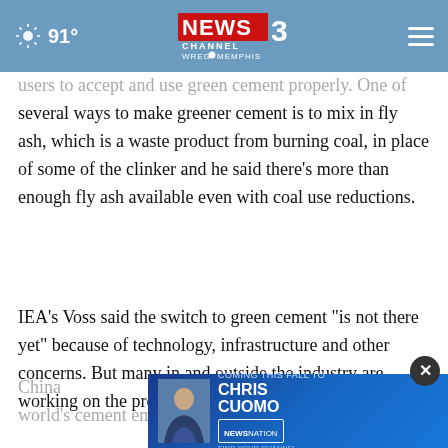91° NEWS3 CHANNEL WREG MEMPHIS
users to accept and use green cement properly. One of several ways to make greener cement is to mix in fly ash, which is a waste product from burning coal, in place of some of the clinker and he said there’s more than enough fly ash available even with coal use reductions.
IEA’s Voss said the switch to green cement “is not there yet” because of technology, infrastructure and other concerns. But many in and outside the industry are working on the problem.
China ... of the world’s cement emissions in 2021, with India a distant
[Figure (screenshot): Advertisement banner for Chris Cuomo coming to NewsNation, featuring a photo of Chris Cuomo in a suit and the text COMING THIS FALL TO NEWSNATION FIND YOUR CHANNEL]